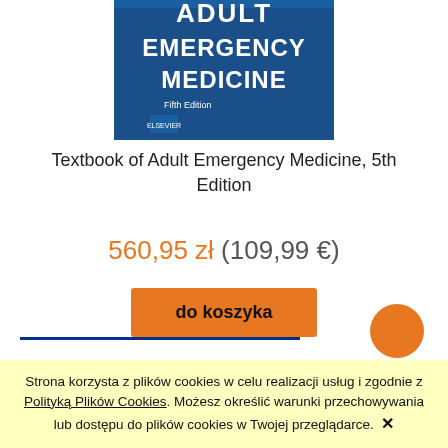[Figure (photo): Book cover of Textbook of Adult Emergency Medicine, Fifth Edition (Elsevier) — blue background with white bold text]
Textbook of Adult Emergency Medicine, 5th Edition
560,95 zł (109,99 €)
do koszyka
Strona korzysta z plików cookies w celu realizacji usług i zgodnie z Polityką Plików Cookies. Możesz określić warunki przechowywania lub dostępu do plików cookies w Twojej przeglądarce. ✕